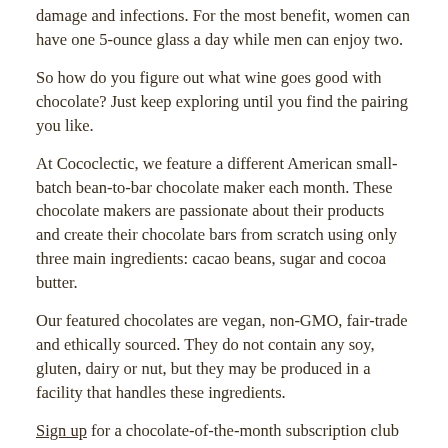damage and infections. For the most benefit, women can have one 5-ounce glass a day while men can enjoy two.
So how do you figure out what wine goes good with chocolate? Just keep exploring until you find the pairing you like.
At Cococlectic, we feature a different American small-batch bean-to-bar chocolate maker each month. These chocolate makers are passionate about their products and create their chocolate bars from scratch using only three main ingredients: cacao beans, sugar and cocoa butter.
Our featured chocolates are vegan, non-GMO, fair-trade and ethically sourced. They do not contain any soy, gluten, dairy or nut, but they may be produced in a facility that handles these ingredients.
Sign up for a chocolate-of-the-month subscription club and join us for a free virtual chocolate tasting with our featured chocolate maker of the month. We also offer chocolate and wine corporate tasting classes. Email us for more information.